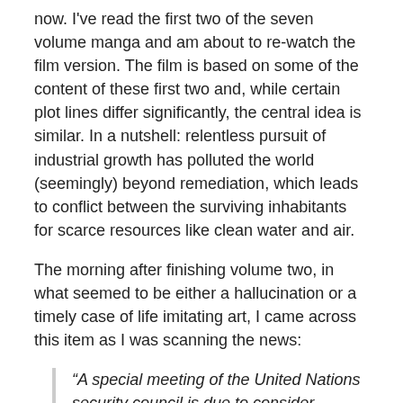now. I've read the first two of the seven volume manga and am about to re-watch the film version. The film is based on some of the content of these first two and, while certain plot lines differ significantly, the central idea is similar. In a nutshell: relentless pursuit of industrial growth has polluted the world (seemingly) beyond remediation, which leads to conflict between the surviving inhabitants for scarce resources like clean water and air.
The morning after finishing volume two, in what seemed to be either a hallucination or a timely case of life imitating art, I came across this item as I was scanning the news:
“A special meeting of the United Nations security council is due to consider whether to expand its mission to keep the peace in an era of climate change. Small island states, which could disappear beneath rising seas, are pushing the security council to intervene to combat the threat to their existence. There has been talk,